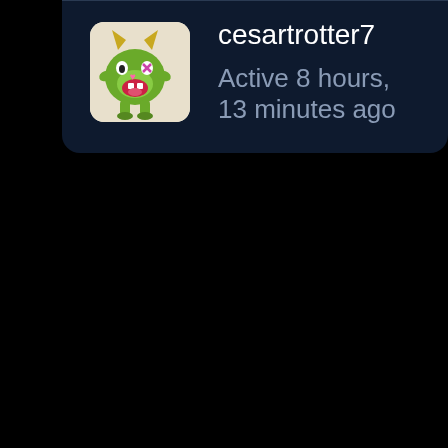[Figure (illustration): Green cartoon monster avatar with yellow horns, open mouth, and small legs, displayed in a rounded square frame]
cesartrotter7
Active 8 hours, 13 minutes ago